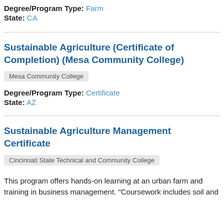Degree/Program Type: Farm
State: CA
Sustainable Agriculture (Certificate of Completion) (Mesa Community College)
Mesa Community College
Degree/Program Type: Certificate
State: AZ
Sustainable Agriculture Management Certificate
Cincinnati State Technical and Community College
This program offers hands-on learning at an urban farm and training in business management. "Coursework includes soil and